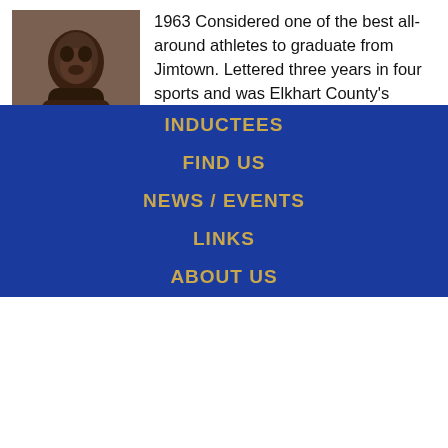[Figure (photo): Black and white portrait photograph of an athlete]
1963 Considered one of the best all-around athletes to graduate from Jimtown. Lettered three years in four sports and was Elkhart County's Pentathlon winner two straight years. King won several MVP honors at Jimtown. He placed fourth in the 440 yard dash in the Fort Wayne semistate track meet with [...]
[Figure (infographic): Social share buttons: Twitter (blue), Pinterest (red), Facebook (blue), and a share count showing 0 SHARES]
INDUCTEES
FIND US
NEWS / EVENTS
LINKS
ABOUT US